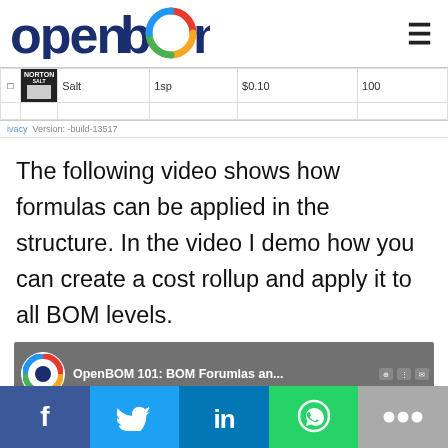[Figure (logo): OpenBOM logo with colorful circular icon replacing the second 'o', and hamburger menu icon on the right]
|  |  | Name | Qty | Price | Score |
| --- | --- | --- | --- | --- | --- |
| ☐ | [NORTON image] | Salt | 1sp | $0.10 | 100 |
|  |  |  |  |  |  |
ivacy  Version: -build-13517
The following video shows how formulas can be applied in the structure. In the video I demo how you can create a cost rollup and apply it to all BOM levels.
[Figure (screenshot): OpenBOM 101: BOM Forumlas an... video thumbnail with OpenBOM logo icon and browser toolbar icons]
[Figure (infographic): Social share bar with Facebook, Twitter, LinkedIn, WhatsApp, and more (ellipsis) buttons]